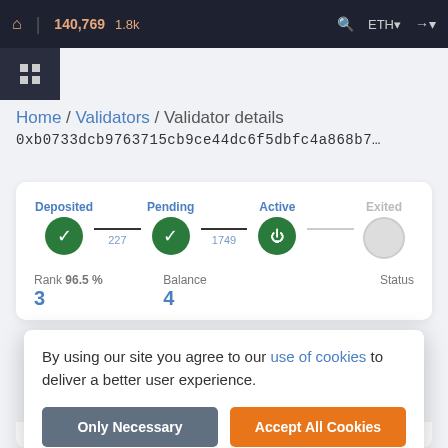🏠 | 140,769  1.8k   🔍  ETH▾  →▾
Home / Validators / Validator details
0xb0733dcb9763715cb9ce44dc6f5dbfc4a868b7…
[Figure (infographic): Validator status progress: Deposited (green check, 227) -> Pending (green check, 1749) -> Active (green power icon) -> Exited (gray circle)]
Rank 96.5 %   Balance   Status
By using our site you agree to our use of cookies to deliver a better user experience.
Only Necessary   Accept All Cookies
🔄 22(100% 😊)   📈 139021(99% 😊)